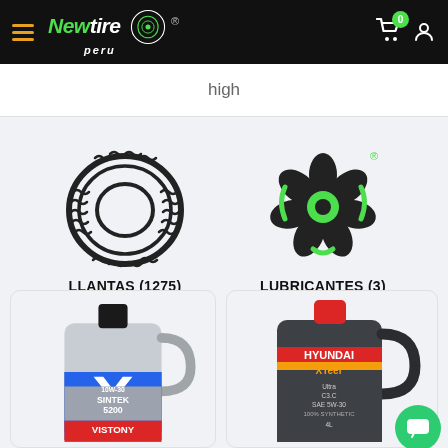[Figure (logo): Newtire Peru logo with hamburger menu, cart icon with badge 0, and user icon on black header bar]
high
[Figure (illustration): Tire icon (outline) above label LLANTAS (1275)]
[Figure (logo): Newtire Peru swirl logo icon above label LUBRICANTES (3)]
[Figure (photo): Vistony Sintek 5200 10W-30 motor oil jug product image]
[Figure (photo): Hyundai XTeer motor oil jug product image]